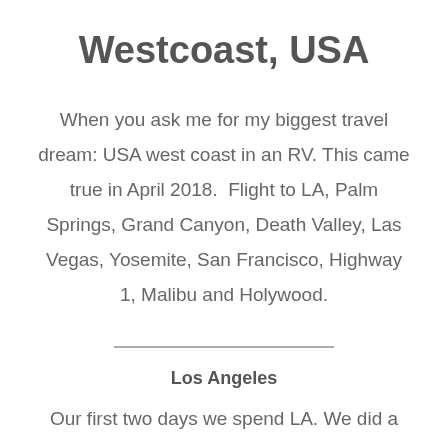Westcoast, USA
When you ask me for my biggest travel dream: USA west coast in an RV. This came true in April 2018.  Flight to LA, Palm Springs, Grand Canyon, Death Valley, Las Vegas, Yosemite, San Francisco, Highway 1, Malibu and Holywood.
Los Angeles
Our first two days we spend LA. We did a German 8-